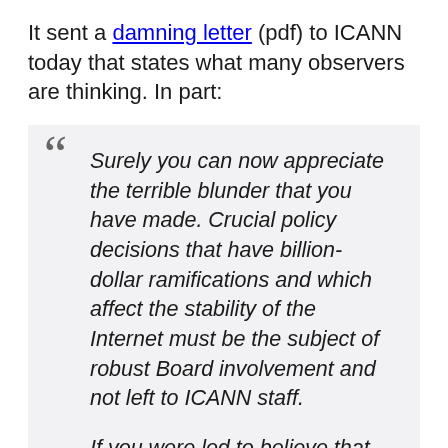It sent a damning letter (pdf) to ICANN today that states what many observers are thinking. In part:
" Surely you can now appreciate the terrible blunder that you have made. Crucial policy decisions that have billion-dollar ramifications and which affect the stability of the Internet must be the subject of robust Board involvement and not left to ICANN staff.

If you were led to believe that removing price caps on .Org domain names was a sound approach because the registry would remain in the hands of a nonprofit foundation, you have clearly been misled. If